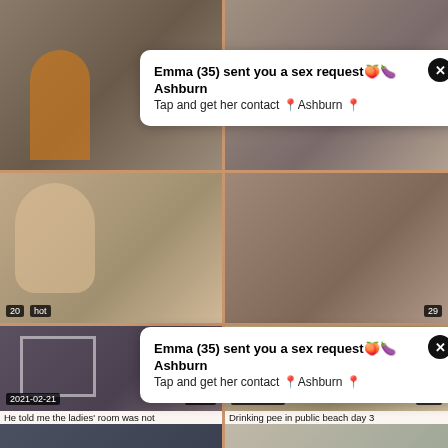[Figure (screenshot): Top-left video thumbnail showing a woman in orange outfit]
[Figure (screenshot): Top-right video thumbnail showing adult content]
Emma (35) sent you a sex request
Ashburn
Tap and get her contact [Ashburn]
[Figure (screenshot): Middle-left thumbnail showing blonde woman smiling]
[Figure (screenshot): Middle-right thumbnail showing adult content]
Emma (35) sent you a sex request
Ashburn
Tap and get her contact [Ashburn]
[Figure (screenshot): Video thumbnail dated 2021-02-21, duration 57:31, He told me the ladies room was not]
[Figure (screenshot): Video thumbnail dated 2021-02-16, duration 6:35, Drinking pee in public beach day 3]
He told me the ladies' room was not
Drinking pee in public beach day 3
[Figure (screenshot): Bottom-left video thumbnail showing adult content]
[Figure (screenshot): Bottom-right video thumbnail showing blonde woman]